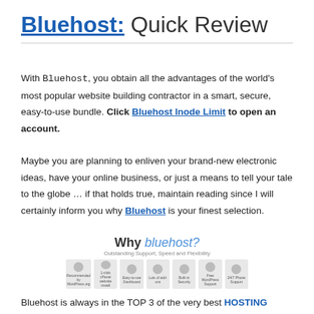Bluehost: Quick Review
With Bluehost, you obtain all the advantages of the world's most popular website building contractor in a smart, secure, easy-to-use bundle. Click Bluehost Inode Limit to open an account.
Maybe you are planning to enliven your brand-new electronic ideas, have your online business, or just a means to tell your tale to the globe … if that holds true, maintain reading since I will certainly inform you why Bluehost is your finest selection.
[Figure (infographic): Why bluehost? Outstanding Support, Speed and Flexibility. Seven icon boxes showing features: Recommended by WordPress.org, 1-click cPanel website install, Easy-to-use Dashboard, Lots of add-ons, Built-in Security, Free WordPress Support, 24/7 Phone Support.]
Bluehost is always in the TOP 3 of the very best HOSTING